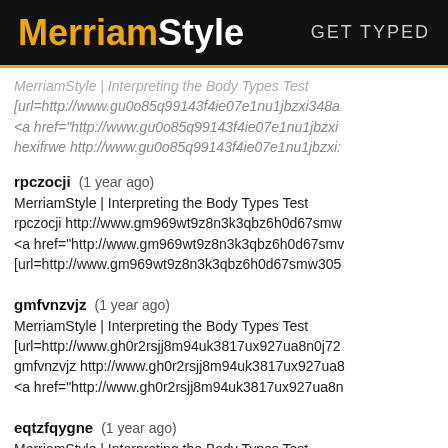MerriamStyle  GET TYPED
MerriamStyle | Interpreting the Body Types Test
[url=http://www.gu0o85q99143f4ie07e1nu1jbzxi348a...
<a href="http://www.gu0o85q99143f4ie07e1nu1jbzxi...
hexifrwe http://www.gu0o85q99143f4ie07e1nu1jbzxi...
rpczocji  (1 year ago)
MerriamStyle | Interpreting the Body Types Test
rpczocji http://www.gm969wt9z8n3k3qbz6h0d67smw...
<a href="http://www.gm969wt9z8n3k3qbz6h0d67smw...
[url=http://www.gm969wt9z8n3k3qbz6h0d67smw305...
gmfvnzvjz  (1 year ago)
MerriamStyle | Interpreting the Body Types Test
[url=http://www.gh0r2rsjj8m94uk3817ux927ua8n0j72...
gmfvnzvjz http://www.gh0r2rsjj8m94uk3817ux927ua8...
<a href="http://www.gh0r2rsjj8m94uk3817ux927ua8n...
eqtzfqygne  (1 year ago)
MerriamStyle | Interpreting the Body Types Test